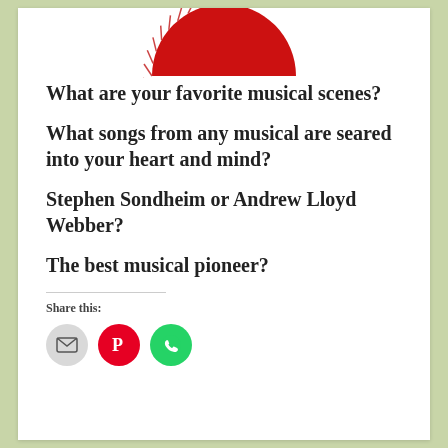[Figure (logo): Partial red semicircle logo with radiating tick marks, likely a Film Club logo, shown at top of page]
What are your favorite musical scenes?
What songs from any musical are seared into your heart and mind?
Stephen Sondheim or Andrew Lloyd Webber?
The best musical pioneer?
Share this:
[Figure (infographic): Three circular share buttons: grey email icon, red Pinterest icon, green WhatsApp icon]